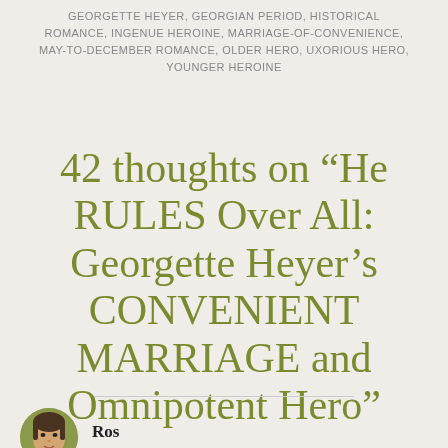GEORGETTE HEYER, GEORGIAN PERIOD, HISTORICAL ROMANCE, INGENUE HEROINE, MARRIAGE-OF-CONVENIENCE, MAY-TO-DECEMBER ROMANCE, OLDER HERO, UXORIOUS HERO, YOUNGER HEROINE
42 thoughts on “He RULES Over All: Georgette Heyer’s CONVENIENT MARRIAGE and Omnipotent Hero”
Ros